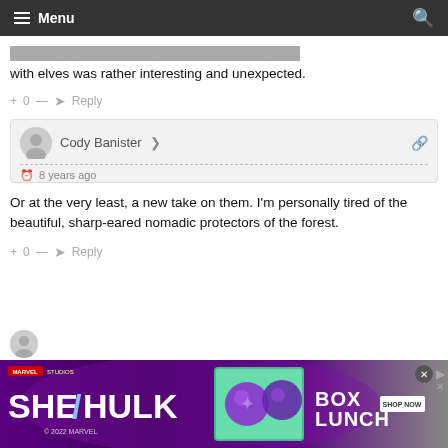Menu
...however what the game Dragon Age: Origins did with elves was rather interesting and unexpected.
+ 0 — Reply
Cody Banister • 8 years ago
Or at the very least, a new take on them. I'm personally tired of the beautiful, sharp-eared nomadic protectors of the forest.
+ 0 — Reply
[Figure (screenshot): She-Hulk BoxLunch advertisement banner]